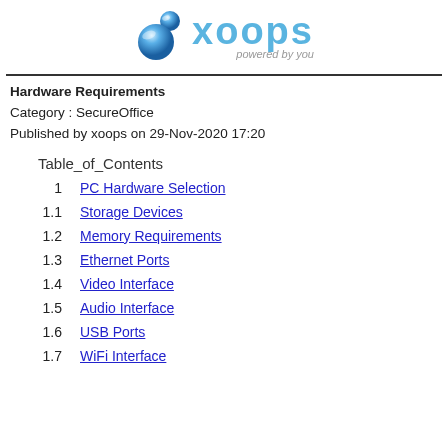[Figure (logo): XOOPS logo: blue sphere icon and 'xoops powered by you' text]
Hardware Requirements
Category : SecureOffice
Published by xoops on 29-Nov-2020 17:20
Table_of_Contents
1   PC Hardware Selection
1.1   Storage Devices
1.2   Memory Requirements
1.3   Ethernet Ports
1.4   Video Interface
1.5   Audio Interface
1.6   USB Ports
1.7   WiFi Interface